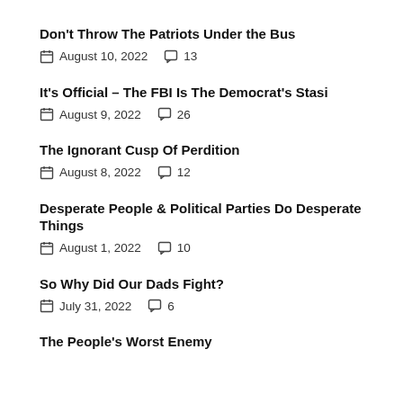Don't Throw The Patriots Under the Bus | August 10, 2022 | 13 comments
It's Official – The FBI Is The Democrat's Stasi | August 9, 2022 | 26 comments
The Ignorant Cusp Of Perdition | August 8, 2022 | 12 comments
Desperate People & Political Parties Do Desperate Things | August 1, 2022 | 10 comments
So Why Did Our Dads Fight? | July 31, 2022 | 6 comments
The People's Worst Enemy